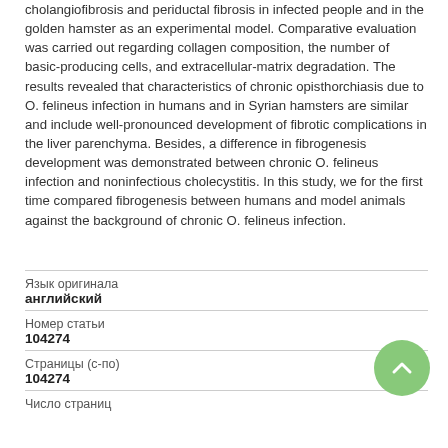cholangiofibrosis and periductal fibrosis in infected people and in the golden hamster as an experimental model. Comparative evaluation was carried out regarding collagen composition, the number of basic-producing cells, and extracellular-matrix degradation. The results revealed that characteristics of chronic opisthorchiasis due to O. felineus infection in humans and in Syrian hamsters are similar and include well-pronounced development of fibrotic complications in the liver parenchyma. Besides, a difference in fibrogenesis development was demonstrated between chronic O. felineus infection and noninfectious cholecystitis. In this study, we for the first time compared fibrogenesis between humans and model animals against the background of chronic O. felineus infection.
| Field | Value |
| --- | --- |
| Язык оригинала | английский |
| Номер статьи | 104274 |
| Страницы (с-по) | 104274 |
| Число страниц |  |